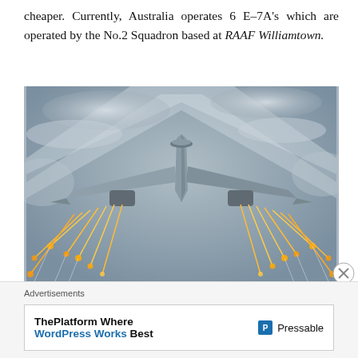cheaper. Currently, Australia operates 6 E-7A's which are operated by the No.2 Squadron based at RAAF Williamtown.
[Figure (photo): Military aircraft (E-7A Wedgetail) viewed from below/front, flying and deploying flares, with contrail streams visible against a cloudy sky background.]
Advertisements
ThePlatform Where WordPress Works Best  P Pressable